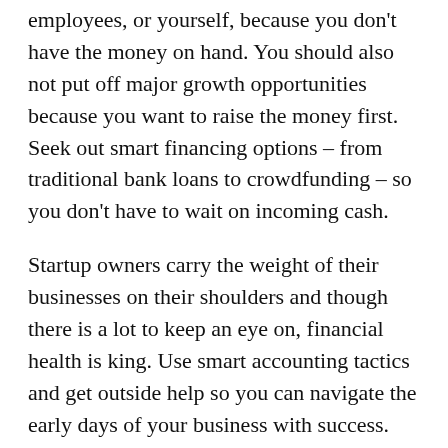employees, or yourself, because you don't have the money on hand. You should also not put off major growth opportunities because you want to raise the money first. Seek out smart financing options – from traditional bank loans to crowdfunding – so you don't have to wait on incoming cash.
Startup owners carry the weight of their businesses on their shoulders and though there is a lot to keep an eye on, financial health is king. Use smart accounting tactics and get outside help so you can navigate the early days of your business with success.
Original article published on www.power-social.com